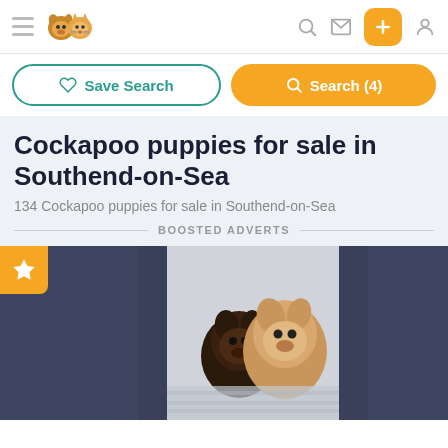Navigation bar with hamburger menu, logo, search, message, add (+), and profile icons
Save Search | Search (4)
Cockapoo puppies for sale in Southend-on-Sea
134 Cockapoo puppies for sale in Southend-on-Sea
BOOSTED ADVERTS
[Figure (photo): Two cockapoo puppies — one dark brown/black and one golden/cream — sitting together on a silvery blanket. The image is partially obscured on the left and right by dark blue-grey panels. A yellow star badge appears in the top-left corner.]